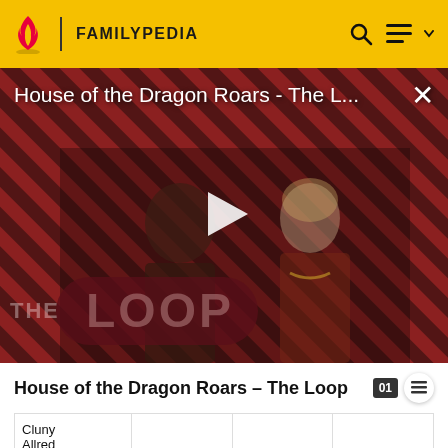FAMILYPEDIA
[Figure (screenshot): Video thumbnail for 'House of the Dragon Roars - The L...' showing two characters with striped background and play button, with 'THE LOOP' text overlay]
House of the Dragon Roars - The Loop
| Cluny Allred (1861-1861) |  |  |  |
| Brigham | 24 | 24 | Karen |